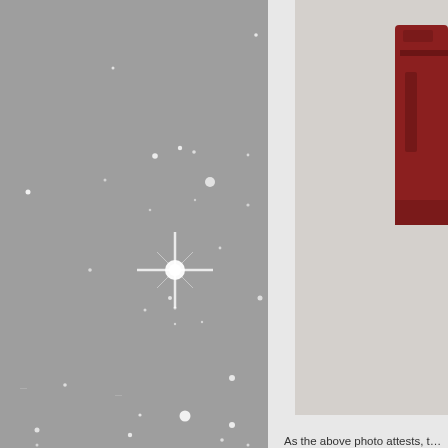[Figure (photo): Star field / night sky photograph on grey background with multiple white star dots and one prominent bright cross-shaped star in the center-left area]
[Figure (photo): Partial photo showing a dark red/maroon object (appears to be an arm or mechanical part) against a light grey background, cropped at right edge]
As the above photo attests, t... hands and arms.
[Figure (photo): Second partial photo showing a light grey surface, cropped, bottom right of page]